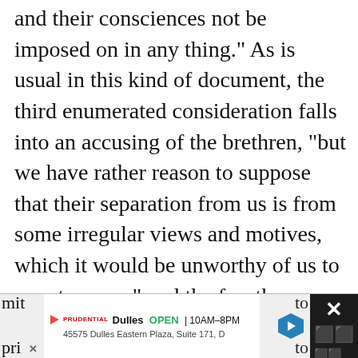and their consciences not be imposed on in any thing." As is usual in this kind of document, the third enumerated consideration falls into an accusing of the brethren, "but we have rather reason to suppose that their separation from us is from some irregular views and motives, which it would be unworthy of us to countenance;" and the fourth consideration I will quote in full, for the purpose of exhibiting its spirit: "We look upon the petitioners and others breaking off from us as they have done, as being full of irregularity and disorder, not to mention that the ordination of their
[Figure (other): Advertisement banner for Dulles store showing OPEN 10AM-8PM, address 45575 Dulles Eastern Plaza, Suite 171, D, with navigation arrow icon and a dark image panel on the right with an X close button]